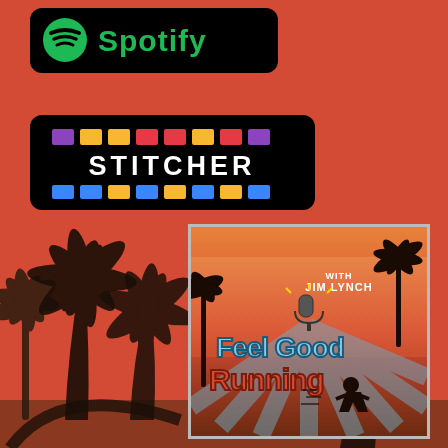[Figure (logo): Spotify logo badge — black rounded rectangle with green Spotify icon and white 'Spotify' text]
[Figure (logo): Stitcher logo badge — black rounded rectangle with colorful blocks and 'STITCHER' text in white]
[Figure (logo): Feel Good Running podcast logo — square image with palm trees silhouette, orange/blue background, 'with JIM LYNCH' text, 'Feel Good Running' in stylized letters with running figure]
[Figure (illustration): Coral/red-orange background with dark silhouettes of palm trees at the bottom left and bottom right of the page]